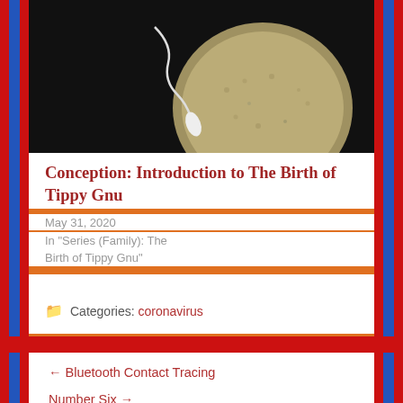[Figure (photo): Black and white close-up photo of a sperm cell approaching an egg]
Conception: Introduction to The Birth of Tippy Gnu
May 31, 2020
In "Series (Family): The Birth of Tippy Gnu"
Categories: coronavirus
← Bluetooth Contact Tracing
Number Six →
55 replies »